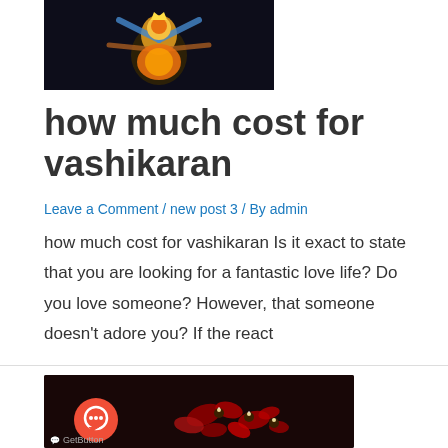[Figure (photo): Dark background photo of a colorful Hindu deity statue or figurine with multiple arms, decorated with orange, blue, and gold colors]
how much cost for vashikaran
Leave a Comment / new post 3 / By admin
how much cost for vashikaran Is it exact to state that you are looking for a fantastic love life? Do you love someone? However, that someone doesn't adore you? If the react
[Figure (photo): Dark photo showing red rose petals and small lit oil lamps (diyas) arranged on a dark wooden surface, with a chat button overlay and GetButton branding]